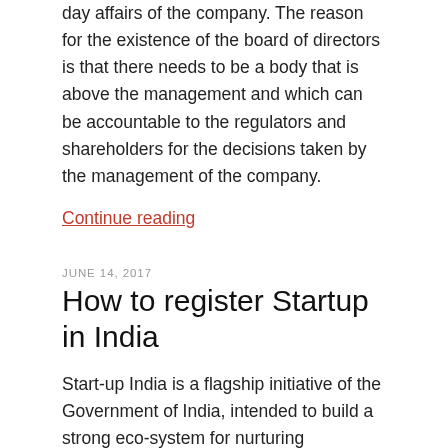day affairs of the company. The reason for the existence of the board of directors is that there needs to be a body that is above the management and which can be accountable to the regulators and shareholders for the decisions taken by the management of the company.
Continue reading
JUNE 14, 2017
How to register Startup in India
Start-up India is a flagship initiative of the Government of India, intended to build a strong eco-system for nurturing innovation and Start-ups in the country that will drive sustainable economic growth and generate large scale employment opportunities. This articles explains how to register Startup in India. A startup is a new or existing business, usually small, started by one or a group of individuals.
Continue reading